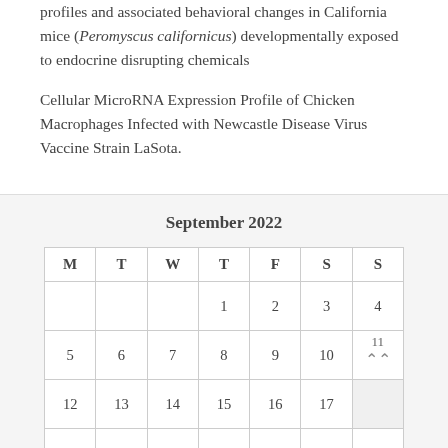profiles and associated behavioral changes in California mice (Peromyscus californicus) developmentally exposed to endocrine disrupting chemicals
Cellular MicroRNA Expression Profile of Chicken Macrophages Infected with Newcastle Disease Virus Vaccine Strain LaSota.
September 2022
| M | T | W | T | F | S | S |
| --- | --- | --- | --- | --- | --- | --- |
|  |  |  | 1 | 2 | 3 | 4 |
| 5 | 6 | 7 | 8 | 9 | 10 | 11 |
| 12 | 13 | 14 | 15 | 16 | 17 |  |
| 19 | 20 | 21 | 22 | 23 | 24 | 25 |